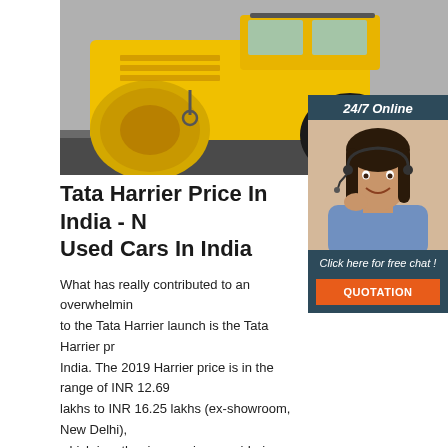[Figure (photo): Yellow road roller / steamroller construction vehicle on asphalt, photographed from the side showing large yellow drums and cab]
[Figure (photo): Customer service widget with '24/7 Online' header, photo of smiling woman with headset, 'Click here for free chat!' text and orange QUOTATION button on dark teal background]
Tata Harrier Price In India - N... Used Cars In India
What has really contributed to an overwhelming... to the Tata Harrier launch is the Tata Harrier pr... India. The 2019 Harrier price is in the range of INR 12.69 lakhs to INR 16.25 lakhs (ex-showroom, New Delhi), which is rather impressive considering the fact that it is Tata's premium SUV.
Get Price